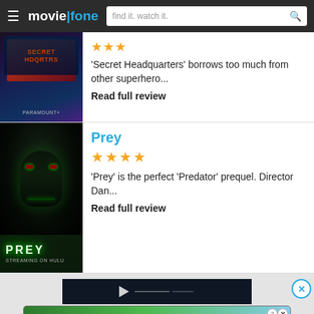moviefone — find it. watch it.
[Figure (photo): Movie poster for Secret Headquarters — dark sci-fi/superhero theme]
★★★
'Secret Headquarters' borrows too much from other superhero...
Read full review
[Figure (photo): Movie poster for Prey — dark close-up face with green face paint]
Prey
★★★★
'Prey' is the perfect 'Predator' prequel. Director Dan...
Read full review
[Figure (screenshot): Cat Game advertisement banner with cartoon cats and PLAY NOW button]
[Figure (screenshot): Dark video preview area at the bottom of the page]